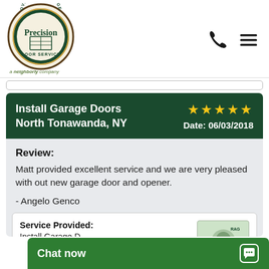[Figure (logo): Precision Door Service logo - circular badge with 'Overhead Garage' text around top, Precision in center, Door Service at bottom, 'a Neighborly company' tagline below]
Install Garage Doors North Tonawanda, NY ★★★★★ Date: 06/03/2018
Review:
Matt provided excellent service and we are very pleased with out new garage door and opener.
- Angelo Genco
Service Provided:
Install Garage D...
Product:
Chat now